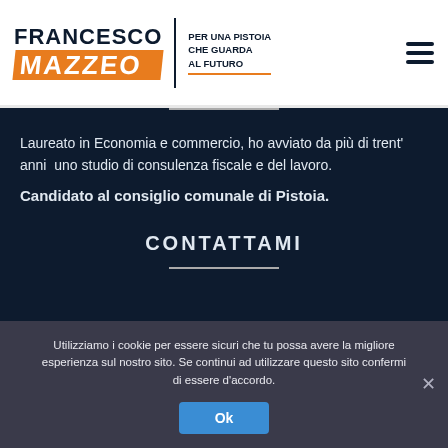[Figure (logo): Francesco Mazzeo campaign logo with tagline 'Per una Pistoia che guarda al futuro']
Laureato in Economia e commercio, ho avviato da più di trent' anni  uno studio di consulenza fiscale e del lavoro.
Candidato al consiglio comunale di Pistoia.
CONTATTAMI
Utilizziamo i cookie per essere sicuri che tu possa avere la migliore esperienza sul nostro sito. Se continui ad utilizzare questo sito confermi di essere d'accordo.